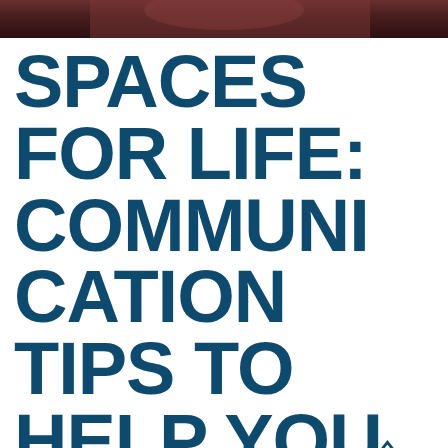[Figure (photo): Partial photo strip at top of page showing a person in dark/red tones]
SPACES FOR LIFE: COMMUNICATION TIPS TO HELP YOU°